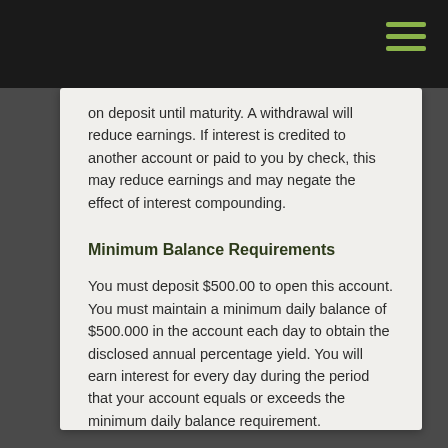on deposit until maturity. A withdrawal will reduce earnings. If interest is credited to another account or paid to you by check, this may reduce earnings and may negate the effect of interest compounding.
Minimum Balance Requirements
You must deposit $500.00 to open this account. You must maintain a minimum daily balance of $500.000 in the account each day to obtain the disclosed annual percentage yield. You will earn interest for every day during the period that your account equals or exceeds the minimum daily balance requirement.